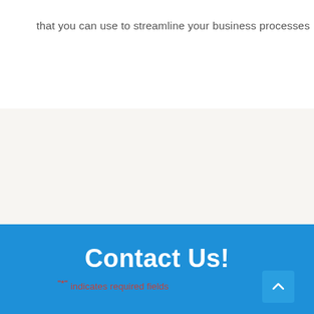that you can use to streamline your business processes
Contact Us!
"*" indicates required fields